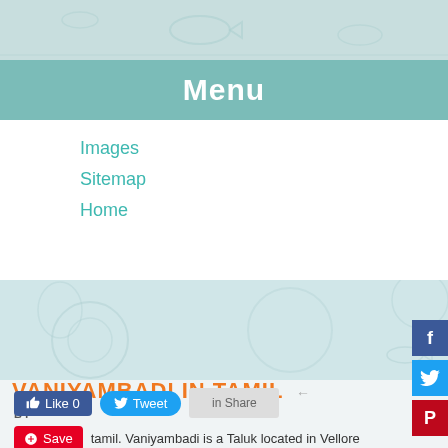[Figure (illustration): Top decorative banner with light teal background and faint fish/nature motifs]
Menu
Images
Sitemap
Home
[Figure (illustration): Middle decorative banner with light teal/blue background and faint botanical/nature motifs]
VANIYAMBADI IN TAMIL
BY
Like 0   Tweet   [LinkedIn]
Save  tamil. Vaniyambadi is a Taluk located in Vellore